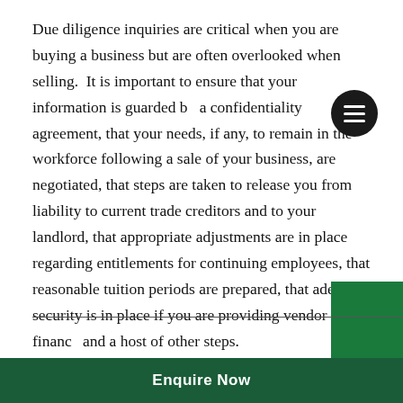Due diligence inquiries are critical when you are buying a business but are often overlooked when selling. It is important to ensure that your information is guarded by a confidentiality agreement, that your needs, if any, to remain in the workforce following a sale of your business, are negotiated, that steps are taken to release you from liability to current trade creditors and to your landlord, that appropriate adjustments are in place regarding entitlements for continuing employees, that reasonable tuition periods are prepared, that adequate security is in place if you are providing vendor finance and a host of other steps.
We will work with your taxation and financial advisors in structuring the sale, particularly to help cover CGT
Enquire Now